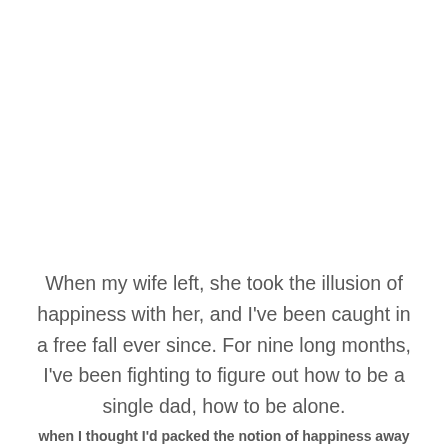When my wife left, she took the illusion of happiness with her, and I've been caught in a free fall ever since. For nine long months, I've been fighting to figure out how to be a single dad, how to be alone.
For nine long months, I've been failing.
Privacy & Cookies: This site uses cookies. By continuing to use this website, you agree to their use. To find out more, including how to control cookies, see here: Cookie Policy
when I thought I'd packed the notion of happiness away